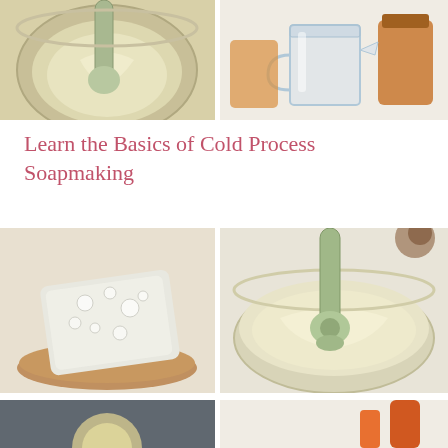[Figure (photo): Top-left photo: cream/batter mixture in a glass bowl being mixed with a green hand blender]
[Figure (photo): Top-right photo: clear glass measuring cup and amber/brown jars on white surface]
Learn the Basics of Cold Process Soapmaking
[Figure (photo): Middle-left photo: a white translucent soap bar with bubbles on a wooden cutting board]
[Figure (photo): Middle-right photo: creamy soap batter in a glass bowl with a green stick blender]
[Figure (photo): Bottom-left photo: partial view of soapmaking ingredients on dark surface]
[Figure (photo): Bottom-right photo: partial view with orange/red tool or ingredient]